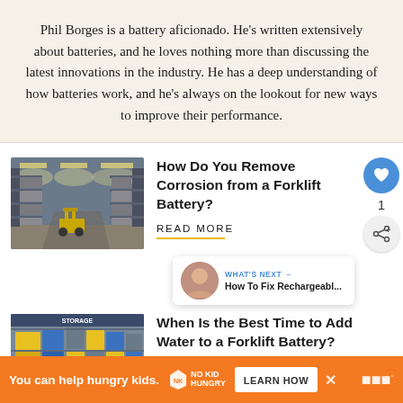Phil Borges is a battery aficionado. He's written extensively about batteries, and he loves nothing more than discussing the latest innovations in the industry. He has a deep understanding of how batteries work, and he's always on the lookout for new ways to improve their performance.
[Figure (photo): Interior of a large warehouse with tall shelving racks and a yellow forklift in the aisle]
How Do You Remove Corrosion from a Forklift Battery?
READ MORE
[Figure (photo): Warehouse storage area with yellow and blue storage containers on shelving]
When Is the Best Time to Add Water to a Forklift Battery?
You can help hungry kids. NO KID HUNGRY LEARN HOW